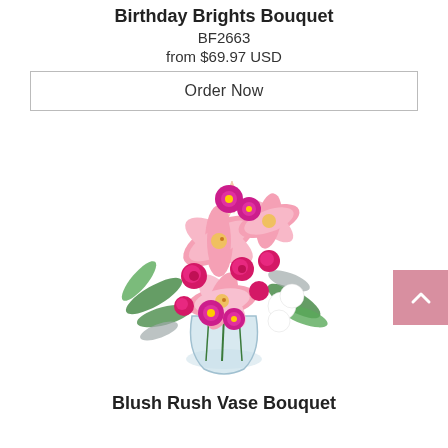Birthday Brights Bouquet
BF2663
from $69.97 USD
Order Now
[Figure (photo): A lush floral bouquet in a clear glass vase featuring pink stargazer lilies, hot pink mini roses, pink and magenta asters, white flowers, and green fern foliage.]
Blush Rush Vase Bouquet